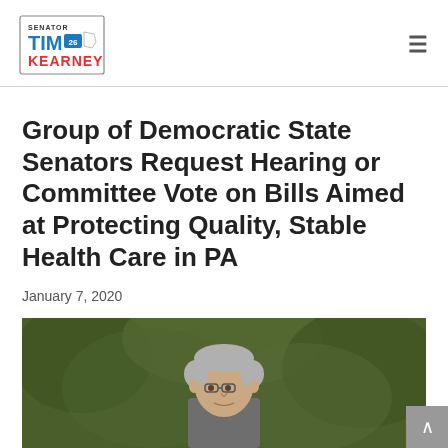Senator Tim Kearney
Group of Democratic State Senators Request Hearing or Committee Vote on Bills Aimed at Protecting Quality, Stable Health Care in PA
January 7, 2020
[Figure (photo): Photo of a man with grey hair and glasses, outdoors with green foliage in the background]